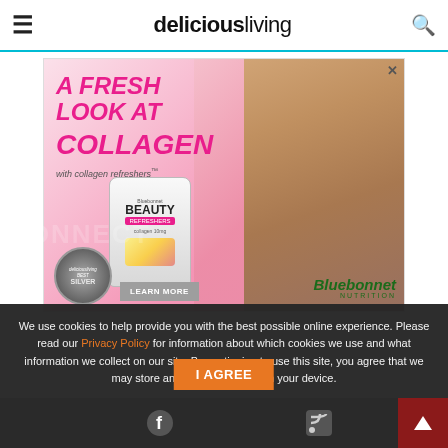deliciousliving
[Figure (photo): Advertisement for Bluebonnet Nutrition collagen refreshers Beauty product. Shows a woman with curly hair, pink text reading 'A FRESH LOOK AT COLLAGEN with collagen refreshers', a product container labeled BEAUTY, a silver award badge from deliciousliving, a LEARN MORE button, and the Bluebonnet Nutrition logo.]
We use cookies to help provide you with the best possible online experience. Please read our Privacy Policy for information about which cookies we use and what information we collect on our site. By continuing to use this site, you agree that we may store and access cookies on your device.
I AGREE